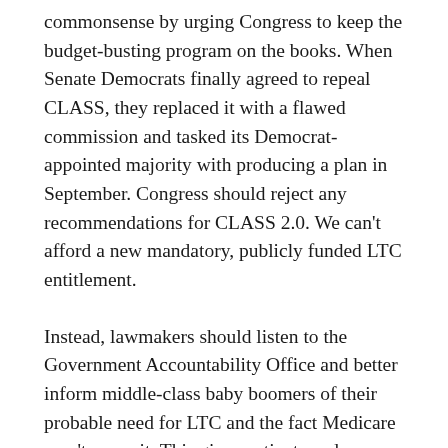commonsense by urging Congress to keep the budget-busting program on the books. When Senate Democrats finally agreed to repeal CLASS, they replaced it with a flawed commission and tasked its Democrat-appointed majority with producing a plan in September. Congress should reject any recommendations for CLASS 2.0. We can't afford a new mandatory, publicly funded LTC entitlement.
Instead, lawmakers should listen to the Government Accountability Office and better inform middle-class baby boomers of their probable need for LTC and the fact Medicare won't cover it. This gives patients and caregivers time to plan ahead. Unfortunately, the Obama Administration refuses to improve its taxpayer-funded efforts to increase Americans' awareness of this problem and has rejected calls to work with state governors to expand private LTC coverage. Liberal advocacy groups have long opposed this approach, preferring for Americans to maintain a safety of federal